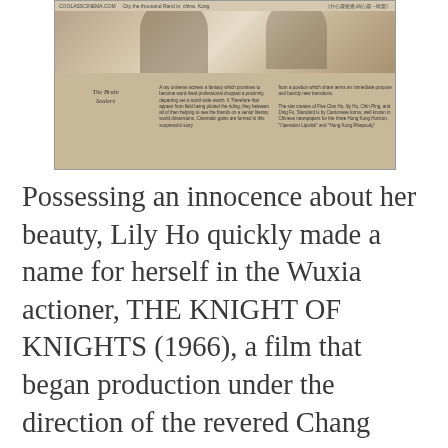[Figure (photo): Sepia-toned magazine page scan showing a vintage film article titled 'The Brain Sealers' with a photograph of figures at the top and two columns of small text below, with Chinese text caption bar.]
Possessing an innocence about her beauty, Lily Ho quickly made a name for herself in the Wuxia actioner, THE KNIGHT OF KNIGHTS (1966), a film that began production under the direction of the revered Chang Cheh, who also wrote the script. Showcasing her sensuality in the classic TILL THE END OF TIME (1966), Lily made a smooth transition into action films in both modern day and period piece fantasies.